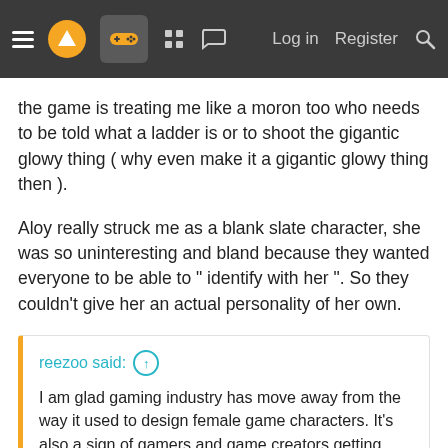Navigation bar with menu, logo, gamepad icon, grid icon, chat icon, Log in, Register, Search
the game is treating me like a moron too who needs to be told what a ladder is or to shoot the gigantic glowy thing ( why even make it a gigantic glowy thing then ).
Aloy really struck me as a blank slate character, she was so uninteresting and bland because they wanted everyone to be able to " identify with her ". So they couldn't give her an actual personality of her own.
reezoo said: ↑
I am glad gaming industry has move away from the way it used to design female game characters. It's also a sign of gamers and game creators getting mature age wise or otherwise. For me personally, it has made it a lot easier for me to play games in front of my kids specially in front of my daughter. I recently finished HZD and there was no issue playing that game when they are around. I also have Neir Automata but having second thoughts playing it when they are watching.